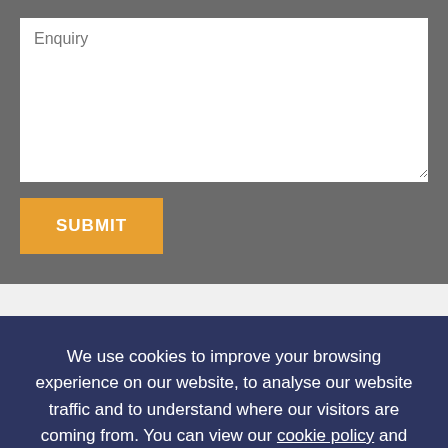Enquiry
SUBMIT
We use cookies to improve your browsing experience on our website, to analyse our website traffic and to understand where our visitors are coming from. You can view our cookie policy and our privacy policy. By browsing our website, you consent to our use of cookies.